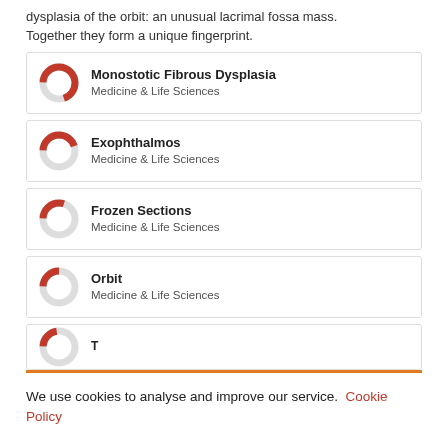dysplasia of the orbit: an unusual lacrimal fossa mass. Together they form a unique fingerprint.
Monostotic Fibrous Dysplasia — Medicine & Life Sciences
Exophthalmos — Medicine & Life Sciences
Frozen Sections — Medicine & Life Sciences
Orbit — Medicine & Life Sciences
We use cookies to analyse and improve our service. Cookie Policy